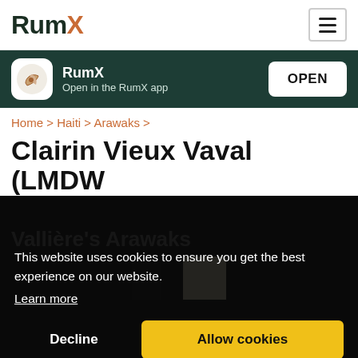RumX
[Figure (screenshot): App store banner with RumX logo and OPEN button on dark green background]
Home > Haiti > Arawaks >
Clairin Vieux Vaval (LMDW Singapore)
Vallière's Arawaks
This website uses cookies to ensure you get the best experience on our website. Learn more
Decline   Allow cookies